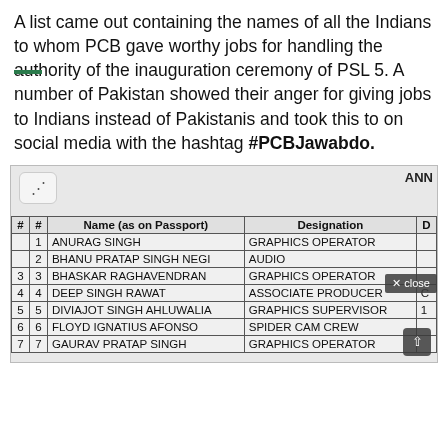A list came out containing the names of all the Indians to whom PCB gave worthy jobs for handling the authority of the inauguration ceremony of PSL 5. A number of Pakistan showed their anger for giving jobs to Indians instead of Pakistanis and took this to on social media with the hashtag #PCBJawabdo.
[Figure (table-as-image): A scanned document showing a table with columns: # (row number), # (number), Name (as on Passport), Designation, D (partial). Rows include: 1 ANURAG SINGH - GRAPHICS OPERATOR, 2 BHANU PRATAP SINGH NEGI - AUDIO, 3 BHASKAR RAGHAVENDRAN - GRAPHICS OPERATOR, 4 DEEP SINGH RAWAT - ASSOCIATE PRODUCER, 5 DIVIAJOT SINGH AHLUWALIA - GRAPHICS SUPERVISOR, 6 FLOYD IGNATIUS AFONSO - SPIDER CAM CREW, 7 GAURAV PRATAP SINGH - GRAPHICS OPERATOR. There is an ANN label at top right, a share button at top left, and an X close button overlay.]